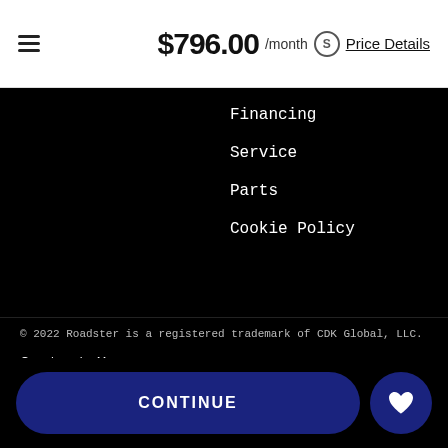$796.00 /month Price Details
Financing
Service
Parts
Cookie Policy
Customer Help
Contact Us
Hours & Map
About
Sitemap
Manufacturer
Ford
© 2022 Roadster is a registered trademark of CDK Global, LLC.
CONTINUE